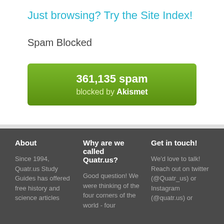Just browsing? Try the Site Index!
Spam Blocked
[Figure (infographic): Green Akismet spam counter box showing 361,135 spam blocked by Akismet]
About
Since 1994, Quatr.us Study Guides has offered free history and science articles
Why are we called Quatr.us?
Good question! We were thinking of the four corners of the world - four
Get in touch!
We'd love to talk! Reach out on twitter (@Quatr_us) or Instagram (@quatr.us) or